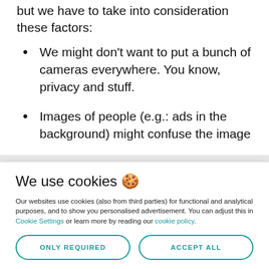but we have to take into consideration these factors:
We might don't want to put a bunch of cameras everywhere. You know, privacy and stuff.
Images of people (e.g.: ads in the background) might confuse the image
We use cookies 🍪
Our websites use cookies (also from third parties) for functional and analytical purposes, and to show you personalised advertisement. You can adjust this in Cookie Settings or learn more by reading our cookie policy.
ONLY REQUIRED
ACCEPT ALL